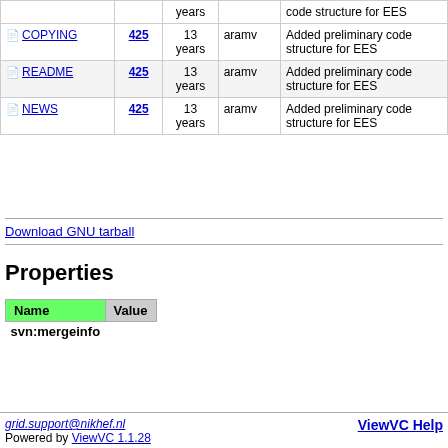| Name | Rev | Age | Author | Last log entry |
| --- | --- | --- | --- | --- |
| [file] COPYING | 425 | 13 years | aramv | Added preliminary code structure for EES |
| [file] README | 425 | 13 years | aramv | Added preliminary code structure for EES |
| [file] NEWS | 425 | 13 years | aramv | Added preliminary code structure for EES |
Download GNU tarball
Properties
| Name | Value |
| --- | --- |
| svn:mergeinfo |  |
grid.support@nikhef.nl   Powered by ViewVC 1.1.28   ViewVC Help